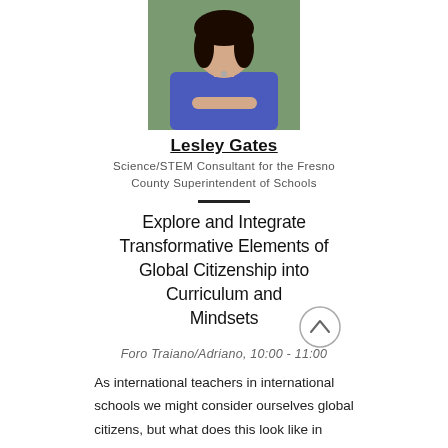[Figure (photo): Headshot photo of Lesley Gates, a woman with dark hair wearing a blue blazer, arms crossed, with a green background.]
Lesley Gates
Science/STEM Consultant for the Fresno County Superintendent of Schools
Explore and Integrate Transformative Elements of Global Citizenship into Curriculum and Mindsets
Foro Traiano/Adriano, 10:00 - 11:00
As international teachers in international schools we might consider ourselves global citizens, but what does this look like in